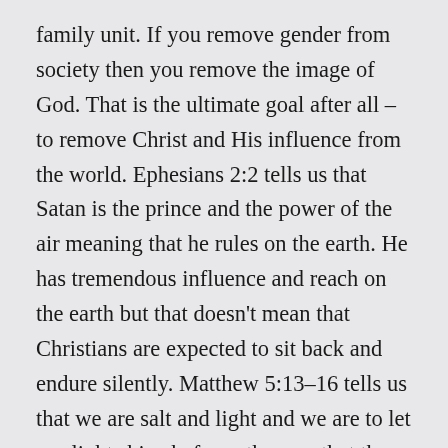family unit. If you remove gender from society then you remove the image of God. That is the ultimate goal after all – to remove Christ and His influence from the world. Ephesians 2:2 tells us that Satan is the prince and the power of the air meaning that he rules on the earth. He has tremendous influence and reach on the earth but that doesn't mean that Christians are expected to sit back and endure silently. Matthew 5:13–16 tells us that we are salt and light and we are to let our light shine before others so that they may see the Father through us. Salt retards corruption and light outshines the darkness. We have a purpose and it's to spread the message of Jesus Christ to a fallen world.